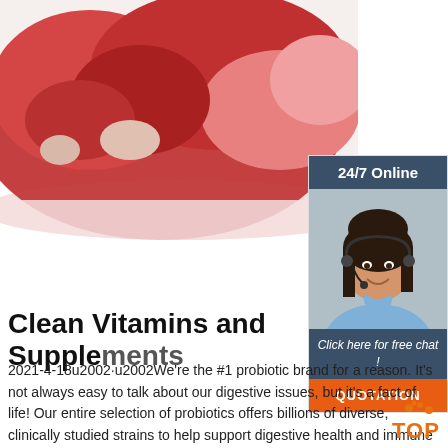[Figure (photo): Close-up photo of raw red meat cuts on a white surface]
[Figure (infographic): 24/7 Online chat widget with a customer service representative woman wearing a headset, with 'Click here for free chat!' text and an orange QUOTATION button]
Clean Vitamins and Supplements
2021-4-18u2002·u2002We're the #1 probiotic brand for a reason. It's not always easy to talk about our digestive issues, but it's a fact of life! Our entire selection of probiotics offers billions of diverse, clinically studied strains to help support digestive health and immune health.†. *Based on 52 Week IRI